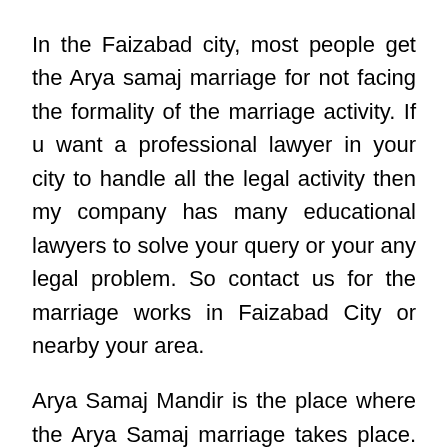In the Faizabad city, most people get the Arya samaj marriage for not facing the formality of the marriage activity. If u want a professional lawyer in your city to handle all the legal activity then my company has many educational lawyers to solve your query or your any legal problem. So contact us for the marriage works in Faizabad City or nearby your area.
Arya Samaj Mandir is the place where the Arya Samaj marriage takes place. Our temple has a reputable record of handling hundreds of Arya Samaj marriages, making it one of the